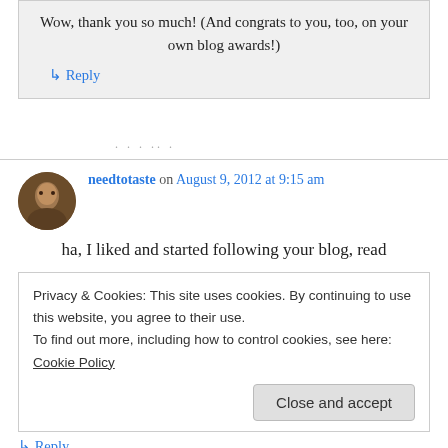Wow, thank you so much! (And congrats to you, too, on your own blog awards!)
↳ Reply
. . . .. .
needtotaste on August 9, 2012 at 9:15 am
ha, I liked and started following your blog, read
Privacy & Cookies: This site uses cookies. By continuing to use this website, you agree to their use.
To find out more, including how to control cookies, see here: Cookie Policy
Close and accept
↳ Reply